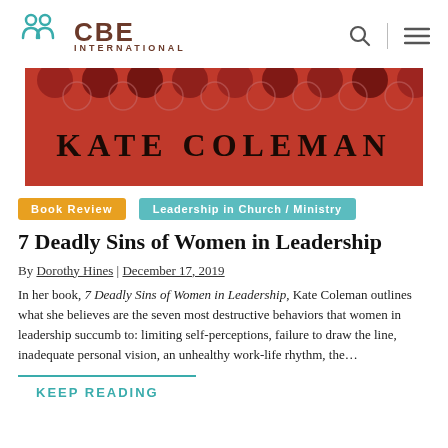CBE INTERNATIONAL
[Figure (photo): Red book cover with 'KATE COLEMAN' text, showing partial cover of 7 Deadly Sins of Women in Leadership with circular decorative elements at top]
Book Review
Leadership in Church / Ministry
7 Deadly Sins of Women in Leadership
By Dorothy Hines | December 17, 2019
In her book, 7 Deadly Sins of Women in Leadership, Kate Coleman outlines what she believes are the seven most destructive behaviors that women in leadership succumb to: limiting self-perceptions, failure to draw the line, inadequate personal vision, an unhealthy work-life rhythm, the…
KEEP READING